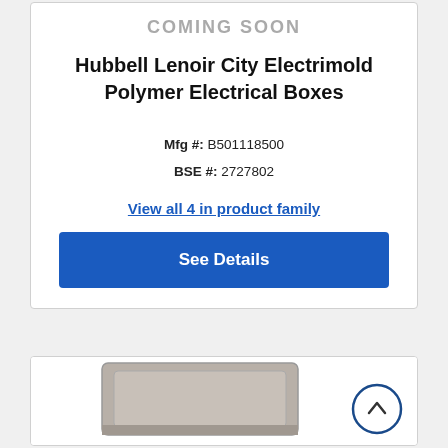COMING SOON
Hubbell Lenoir City Electrimold Polymer Electrical Boxes
Mfg #: B501118500
BSE #: 2727802
View all 4 in product family
See Details
[Figure (photo): Partial view of a grey/taupe polymer electrical box, rectangular shape, viewed from above at an angle. A circular scroll-to-top button with a dark blue border and upward chevron arrow is visible in the lower right.]